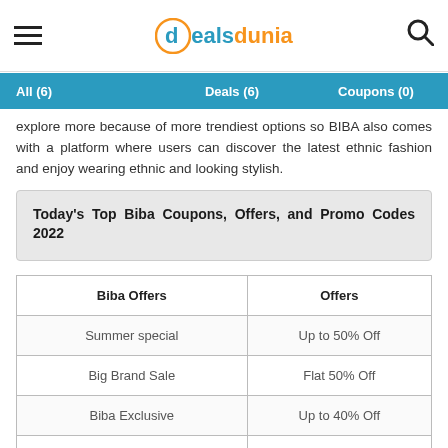Dealsdunia
All (6)   Deals (6)   Coupons (0)
explore more because of more trendiest options so BIBA also comes with a platform where users can discover the latest ethnic fashion and enjoy wearing ethnic and looking stylish.
Today's Top Biba Coupons, Offers, and Promo Codes 2022
| Biba Offers | Offers |
| --- | --- |
| Summer special | Up to 50% Off |
| Big Brand Sale | Flat 50% Off |
| Biba Exclusive | Up to 40% Off |
| Deals on Wedding Range | Up to 50% Discount |